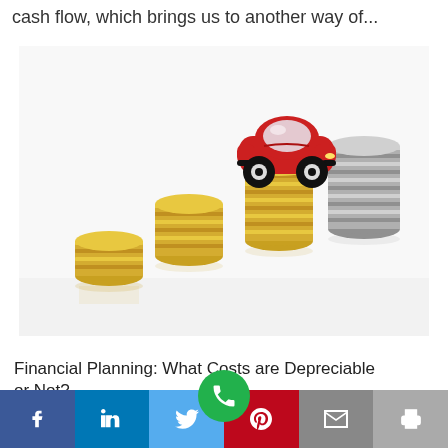cash flow, which brings us to another way of...
[Figure (photo): Stacked coins of increasing height with a red toy car on top of the tallest stack, symbolizing savings or car finance.]
Financial Planning: What Costs are Depreciable or Not?
Social share bar with Facebook, LinkedIn, Twitter, Pinterest, Email, Print buttons